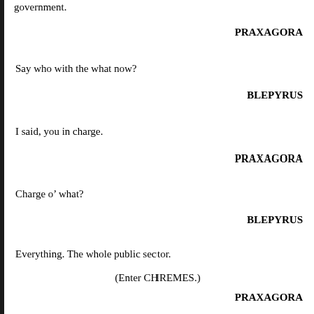government.
PRAXAGORA
Say who with the what now?
BLEPYRUS
I said, you in charge.
PRAXAGORA
Charge o’ what?
BLEPYRUS
Everything. The whole public sector.
(Enter CHREMES.)
PRAXAGORA
Holy shit! Aphrodite! This is wonderful news for us Athenians!
BLEPYRUS